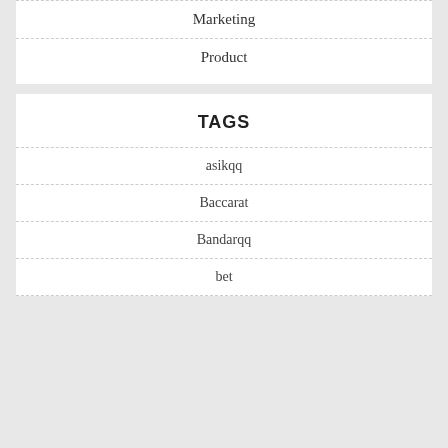Marketing
Product
TAGS
asikqq
Baccarat
Bandarqq
bet